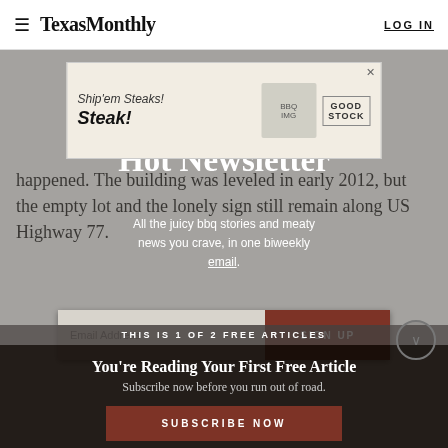Texas Monthly  LOG IN
[Figure (screenshot): Advertisement banner: Ship'em Steaks! with Goodstock logo]
One Smokin' Hot Newsletter
All the juicy bbq stories and meaty news you crave, in one biweekly email.
happened. The building was leveled in early 2012, but the empty lot and the lonely sign still remain along US Highway 77.
THIS IS 1 OF 2 FREE ARTICLES
Email Address
SIGN UP
You agree to our Privacy Policy.
You're Reading Your First Free Article
Subscribe now before you run out of road.
SUBSCRIBE NOW
Already a subscriber? Log in